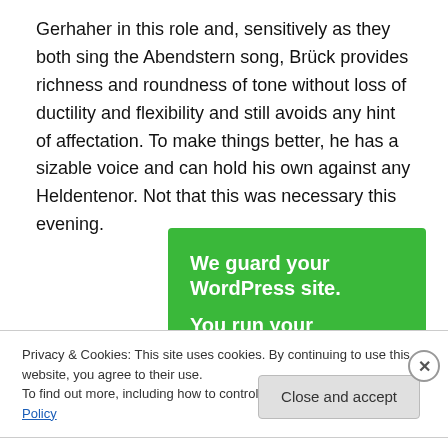Gerhaher in this role and, sensitively as they both sing the Abendstern song, Brück provides richness and roundness of tone without loss of ductility and flexibility and still avoids any hint of affectation. To make things better, he has a sizable voice and can hold his own against any Heldentenor. Not that this was necessary this evening.
[Figure (other): Green advertisement banner reading 'We guard your WordPress site. You run your business.']
Privacy & Cookies: This site uses cookies. By continuing to use this website, you agree to their use.
To find out more, including how to control cookies, see here: Cookie Policy
Close and accept